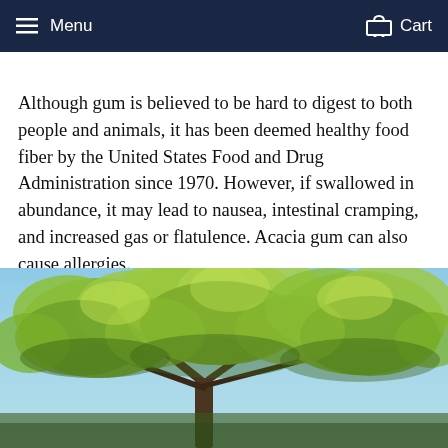Menu  Cart
Although gum is believed to be hard to digest to both people and animals, it has been deemed healthy food fiber by the United States Food and Drug Administration since 1970. However, if swallowed in abundance, it may lead to nausea, intestinal cramping, and increased gas or flatulence. Acacia gum can also cause allergies.
[Figure (photo): Photograph of an acacia tree with green foliage against a blue sky]